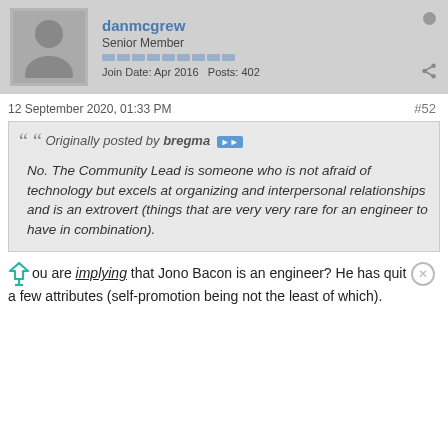danmcgrew | Senior Member | Join Date: Apr 2016 | Posts: 402
12 September 2020, 01:33 PM
#52
Originally posted by bregma
No. The Community Lead is someone who is not afraid of technology but excels at organizing and interpersonal relationships and is an extrovert (things that are very very rare for an engineer to have in combination).
You are implying that Jono Bacon is an engineer? He has quit a few attributes (self-promotion being not the least of which).